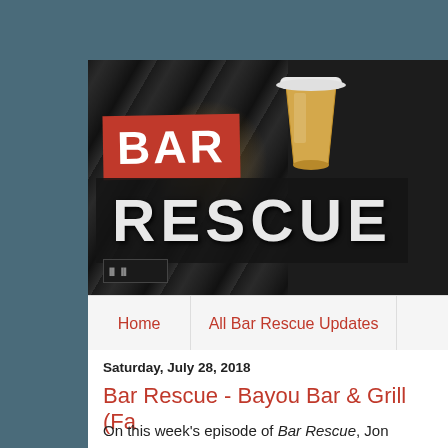[Figure (photo): Bar Rescue TV show banner/logo image showing 'BAR RESCUE' text in bold letters on a dark marble-textured background with a coffee cup. The word BAR is on a red background, RESCUE is in large white/grey letters on dark background.]
Home
All Bar Rescue Updates
Saturday, July 28, 2018
Bar Rescue - Bayou Bar & Grill (Fa
On this week's episode of Bar Rescue, Jon Taffer and crew are in Jacksonville, Florida to rescue Fatballs. Fatballs is a sport bar